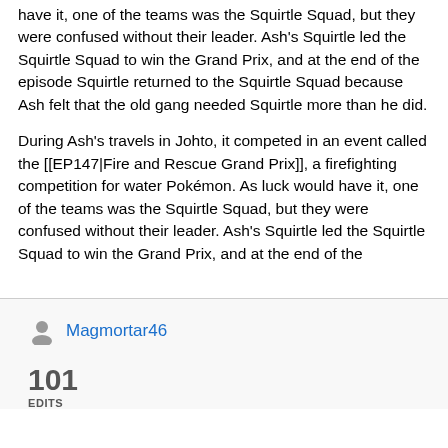have it, one of the teams was the Squirtle Squad, but they were confused without their leader. Ash's Squirtle led the Squirtle Squad to win the Grand Prix, and at the end of the episode Squirtle returned to the Squirtle Squad because Ash felt that the old gang needed Squirtle more than he did.
During Ash's travels in Johto, it competed in an event called the [[EP147|Fire and Rescue Grand Prix]], a firefighting competition for water Pokémon. As luck would have it, one of the teams was the Squirtle Squad, but they were confused without their leader. Ash's Squirtle led the Squirtle Squad to win the Grand Prix, and at the end of the
Magmortar46
101 EDITS